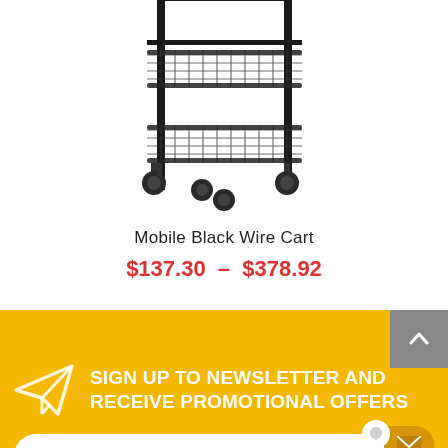[Figure (photo): Black wire shelving cart with two shelves and four caster wheels on a white background]
Mobile Black Wire Cart
$137.30 – $378.92
SIGN UP TO NEWSLETTER AND RECEIVE PROMOTIONAL OFFERS
Your email address